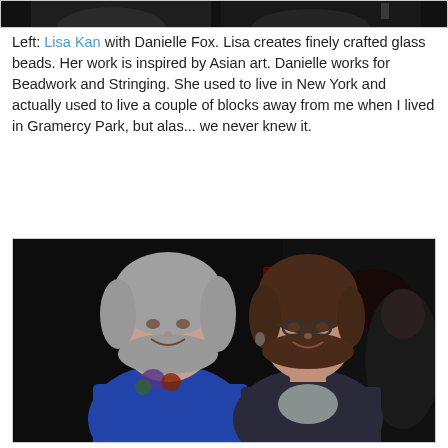[Figure (photo): Top portion of a photo showing two people against a dark background, partially cropped at top of page]
Left: Lisa Kan with Danielle Fox. Lisa creates finely crafted glass beads. Her work is inspired by Asian art. Danielle works for Beadwork and Stringing. She used to live in New York and actually used to live a couple of blocks away from me when I lived in Gramercy Park, but alas... we never knew it.
[Figure (photo): Photo of two women smiling, standing side by side in a dark venue. The woman on the left has gray hair and is wearing a blue top with beaded jewelry. The woman on the right has brown hair, glasses, and is wearing a dark jacket.]